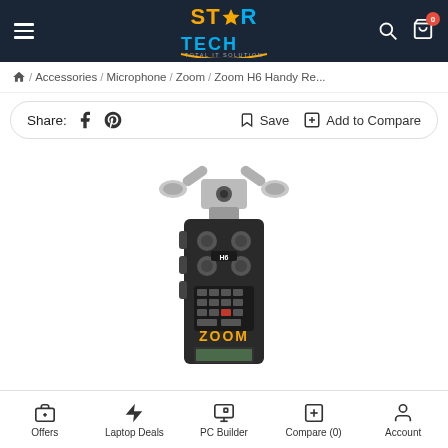StarTech header with hamburger menu, logo, search and cart icons
/ Accessories / Microphone / Zoom / Zoom H6 Handy Re...
Share: [facebook] [pinterest]   [save icon] Save   [compare icon] Add to Compare
[Figure (photo): Zoom H6 Handy Recorder product image showing the device with XY microphone capsule attached on top and main body with controls]
Offers | Laptop Deals | PC Builder | Compare (0) | Account